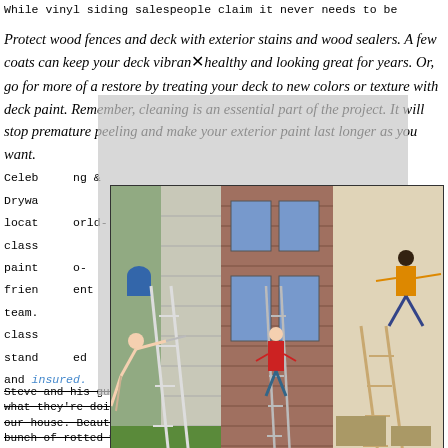While vinyl siding salespeople claim it never needs to be
Protect wood fences and deck with exterior stains and wood sealers. A few coats can keep your deck vibrant healthy and looking great for years. Or, go for more of a restore by treating your deck to new colors or texture with deck paint. Remember, cleaning is an essential part of the project. It will stop premature peeling and make your exterior paint last longer as you want. Celebrating Painting & Drywalling, located world-class painters, eco-friendly, excellent team. class standards, licensed and insured.
[Figure (photo): Three photos side by side showing people on ladders near house exteriors - one person falling off a ladder next to vinyl siding, one person climbing a ladder on a brick house, and one person falling indoors near a ladder.]
Steve and his guys are absolute professionals that know what they're doing. We love the transformation they did on our house. Beautiful roof, great paint job and they fixed up a bunch of rotted wood. House looks brand new! They were